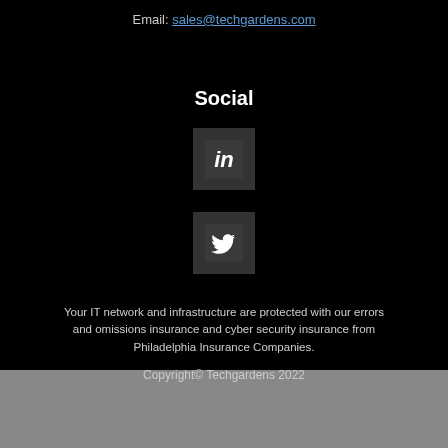Email: sales@techgardens.com
Social
[Figure (logo): LinkedIn icon — white 'in' logo on dark square background]
[Figure (logo): Twitter bird icon — white bird on dark square background]
Your IT network and infrastructure are protected with our errors and omissions insurance and cyber security insurance from Philadelphia Insurance Companies.
Copyright© Techgardens 2022